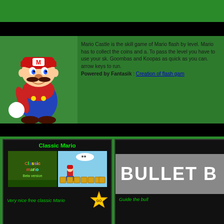[Figure (screenshot): Top green header bar of Mario game website]
[Figure (screenshot): Black navigation bar]
[Figure (screenshot): Mario character image on left side of description section]
Mario Castle is the skill game of Mario flash by level. Mario has to collect the coins and a. To pass the level you have to use your sk. Goombas and Koopas as quick as you can. arrow keys to run. Powered by Fantasik : Creation of flash gam
[Figure (screenshot): Classic Mario section with two game screenshots and a go star button]
Classic Mario
Very nice free classic Mario
[Figure (screenshot): Partial view of Bullet game card on right side]
Guide the bull
Hungry Mario